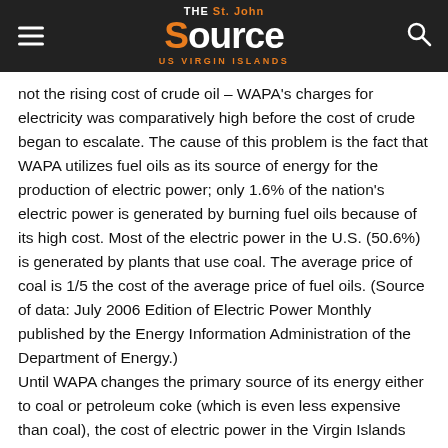THE St. John Source US VIRGIN ISLANDS
not the rising cost of crude oil – WAPA's charges for electricity was comparatively high before the cost of crude began to escalate. The cause of this problem is the fact that WAPA utilizes fuel oils as its source of energy for the production of electric power; only 1.6% of the nation's electric power is generated by burning fuel oils because of its high cost. Most of the electric power in the U.S. (50.6%) is generated by plants that use coal. The average price of coal is 1/5 the cost of the average price of fuel oils. (Source of data: July 2006 Edition of Electric Power Monthly published by the Energy Information Administration of the Department of Energy.)
Until WAPA changes the primary source of its energy either to coal or petroleum coke (which is even less expensive than coal), the cost of electric power in the Virgin Islands will continue to be much higher than the cities elsewhere in the